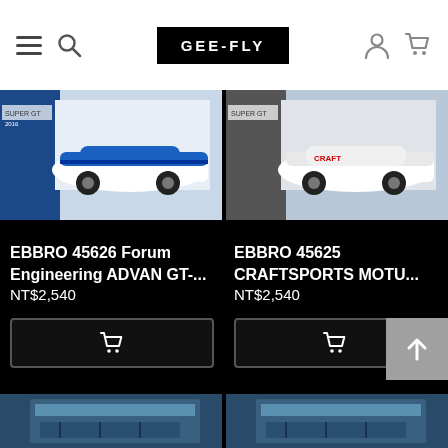GEE-FLY navigation bar with hamburger menu, search, logo, user icon, cart icon
[Figure (photo): Die-cast model car EBBRO 45626 Forum Engineering ADVAN GT-R, blue and white racing livery, in display box]
[Figure (photo): Die-cast model car EBBRO 45625 CRAFTSPORTS MOTUL, white racing livery, in display box]
EBBRO 45626 Forum Engineering ADVAN GT-...
NT$2,540
EBBRO 45625 CRAFTSPORTS MOTU...
NT$2,540
[Figure (photo): Partial view of another die-cast model car product, blue toned display]
[Figure (photo): Partial view of another die-cast model car product, blue toned display]